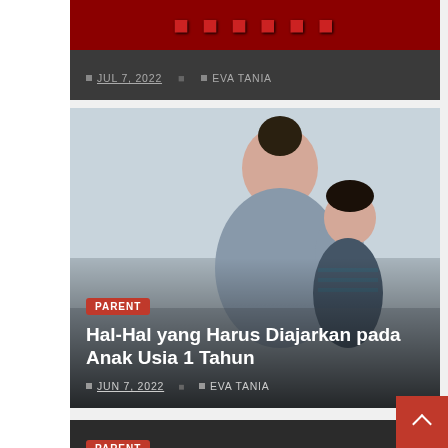[Figure (screenshot): Partial dark card with red title bar and metadata showing date and author]
JUL 7, 2022   EVA TANIA
[Figure (photo): Photo of a mother sitting with a toddler child, reading or looking at something together. Article card with PARENT badge.]
Hal-Hal yang Harus Diajarkan pada Anak Usia 1 Tahun
JUN 7, 2022   EVA TANIA
[Figure (screenshot): Dark card with PARENT badge and article title beginning]
Rekomendasi Permainan Sederhana yang Bisa